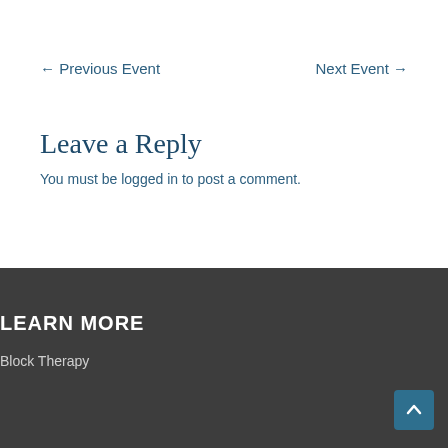← Previous Event
Next Event →
Leave a Reply
You must be logged in to post a comment.
LEARN MORE
Block Therapy